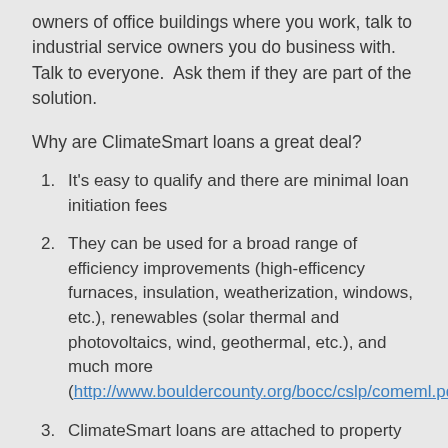owners of office buildings where you work, talk to industrial service owners you do business with.  Talk to everyone.  Ask them if they are part of the solution.
Why are ClimateSmart loans a great deal?
It's easy to qualify and there are minimal loan initiation fees
They can be used for a broad range of efficiency improvements (high-efficency furnaces, insulation, weatherization, windows, etc.), renewables (solar thermal and photovoltaics, wind, geothermal, etc.), and much more (http://www.bouldercounty.org/bocc/cslp/comeml.pdf).
ClimateSmart loans are attached to property taxes, paid on a 15 year term to keep payments low, and they stay with the property if you sell it.